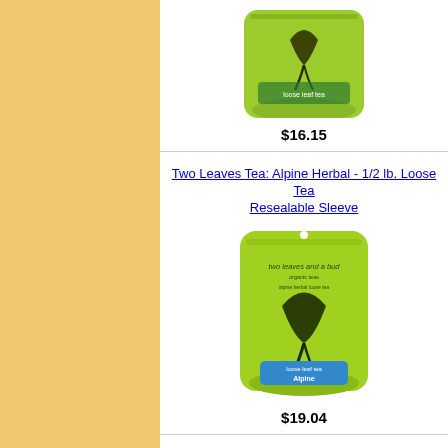[Figure (photo): Green resealable loose tea sleeve bag with dark leaf logo, partially cropped at top]
$16.15
Two Leaves Tea: Alpine Herbal - 1/2 lb. Loose Tea Resealable Sleeve
[Figure (photo): Green resealable loose tea sleeve bag labeled Alpine with two leaves logo and blue label]
$19.04
Two Leaves Tea: Jasmine Petal - 1/2 lb. Loose Tea Resealable Sleeve
[Figure (photo): Green resealable loose tea sleeve bag, partially visible at bottom of page]